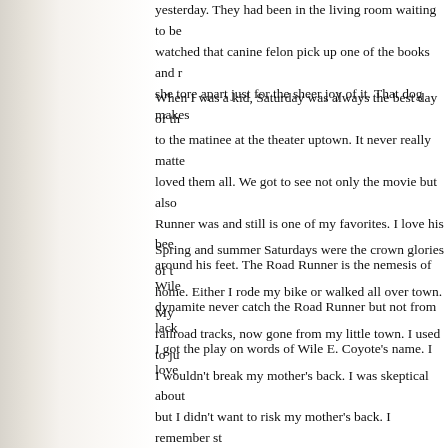yesterday. They had been in the living room waiting to be watched that canine felon pick up one of the books and r she tore apart just for the sheer joy of it. That dog makes
When I was a kid, Saturday was always the best day of th to the matinee at the theater uptown. It never really matte loved them all. We got to see not only the movie but also Runner was and still is one of my favorites. I love his bee around his feet. The Road Runner is the nemesis of Wile dynamite never catch the Road Runner but not from lack I got the play on words of Wile E. Coyote's name. I love
Spring and summer Saturdays were the crown glories of t home. Either I rode my bike or walked all over town. My railroad tracks, now gone from my little town. I used to ju I wouldn't break my mother's back. I was skeptical about but I didn't want to risk my mother's back. I remember st with flowing, clear water. It came out of a small hillside. end of the tracks. It still stands and has been used in a va wish I had been around when it was an actual station. I di tracks from my grandparents' house. The trains stopped a the tracks. The name, the lettering, was on a long black si building. I remember it from when I was a kid. I had no i